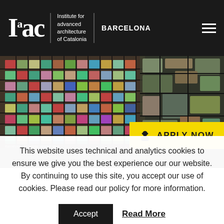[Figure (logo): IAAC - Institute for advanced architecture of Catalonia, Barcelona logo on dark header]
[Figure (photo): Aerial satellite view of Barcelona city grid showing colorful urban blocks]
APPLY NOW
[Figure (photo): Dark aerial photo strip below main image]
This website uses technical and analytics cookies to ensure we give you the best experience our our website. By continuing to use this site, you accept our use of cookies. Please read our policy for more information.
Accept
Read More